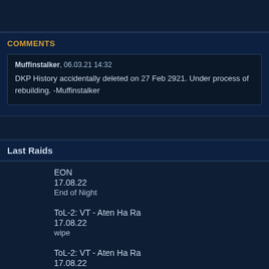COMMENTS
Muffinstalker, 06.03.21 14:32
DKP History accidentally deleted on 27 Feb 2921. Under process of rebuilding. -Muffinstalker
Last Raids
EON
17.08.22
End of Night
ToL-2: VT - Aten Ha Ra
17.08.22
wipe
ToL-2: VT - Aten Ha Ra
17.08.22
Wipe